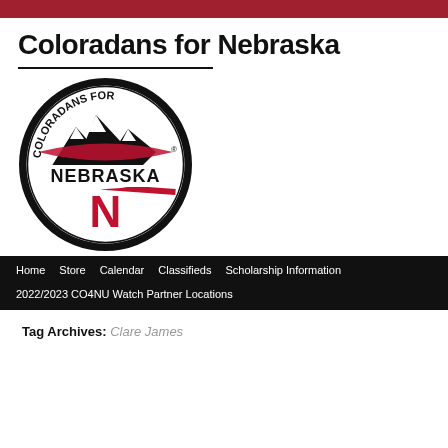Coloradans for Nebraska
[Figure (logo): Coloradans for Nebraska circular logo with mountains, red N, and sunburst rays in red and white]
Home  Store  Calendar  Classifieds  Scholarship Information  2022/2023 CO4NU Watch Partner Locations
Tag Archives: Clare James